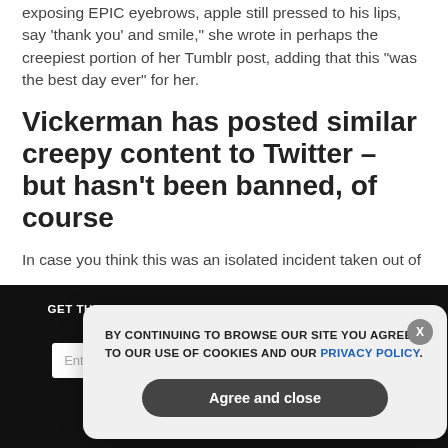exposing EPIC eyebrows, apple still pressed to his lips, say 'thank you' and smile," she wrote in perhaps the creepiest portion of her Tumblr post, adding that this "was the best day ever" for her.
Vickerman has posted similar creepy content to Twitter – but hasn't been banned, of course
In case you think this was an isolated incident taken out of
[Figure (screenshot): Dark newsletter subscription bar with email input and subscribe button, overlaid by a cookie consent popup dialog with text 'BY CONTINUING TO BROWSE OUR SITE YOU AGREE TO OUR USE OF COOKIES AND OUR PRIVACY POLICY.' with Agree and close button.]